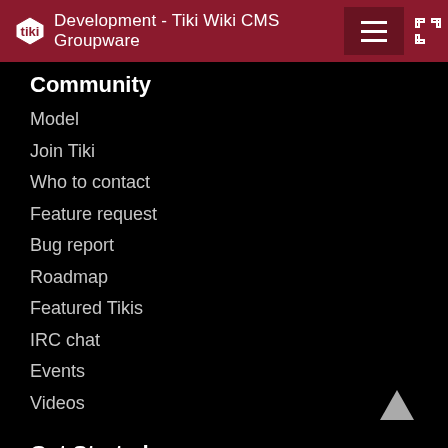Development - Tiki Wiki CMS Groupware
Community
Model
Join Tiki
Who to contact
Feature request
Bug report
Roadmap
Featured Tikis
IRC chat
Events
Videos
Get Started
Download
Install guide
Configure